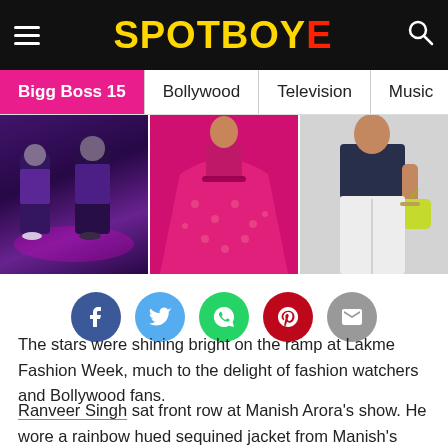SpotboyE – Bigg Boss 15 | Bollywood | Television | Music | Fashion
[Figure (photo): Three-panel photo strip showing fashion/Bollywood images: left panel shows performers in sequined outfits on stage, center panel shows a woman in a bright red/pink lehenga, right panel shows a woman in white jeans and navy top carrying a yellow-green bag.]
[Figure (infographic): Row of social sharing buttons: Facebook (blue circle), Twitter (light blue circle), WhatsApp (green circle), Pinterest (red circle), Email (grey circle)]
The stars were shining bright on the ramp at Lakme Fashion Week, much to the delight of fashion watchers and Bollywood fans.
Ranveer Singh sat front row at Manish Arora's show. He wore a rainbow hued sequined jacket from Manish's Spring 2017 womenswear collection and paired it with dark jeans, a fedora and shiny brogues. If anyone could